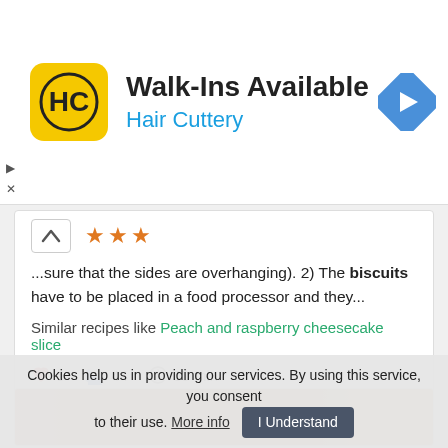[Figure (other): Hair Cuttery advertisement banner with logo, 'Walk-Ins Available' text, and navigation icon]
...sure that the sides are overhanging). 2) The biscuits have to be placed in a food processor and they...
Similar recipes like Peach and raspberry cheesecake slice
6   44   60 min
[Figure (photo): Close-up photo of a dessert with dark berries (blackberries) piled on top of a pastry base on a plate]
Cookies help us in providing our services. By using this service, you consent to their use. More info  I Understand